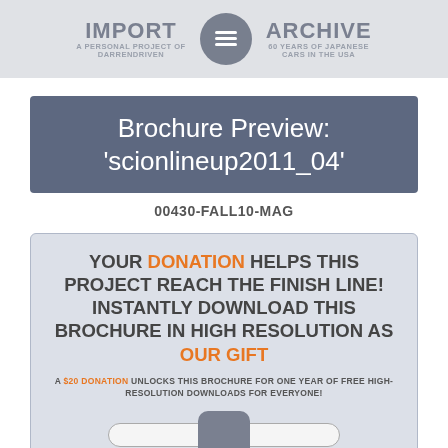IMPORT A PERSONAL PROJECT OF DARRENDRIVEN | ARCHIVE 60 YEARS OF JAPANESE CARS IN THE USA
Brochure Preview: 'scionlineup2011_04'
00430-FALL10-MAG
YOUR DONATION HELPS THIS PROJECT REACH THE FINISH LINE! INSTANTLY DOWNLOAD THIS BROCHURE IN HIGH RESOLUTION AS OUR GIFT
A $20 DONATION UNLOCKS THIS BROCHURE FOR ONE YEAR OF FREE HIGH-RESOLUTION DOWNLOADS FOR EVERYONE!